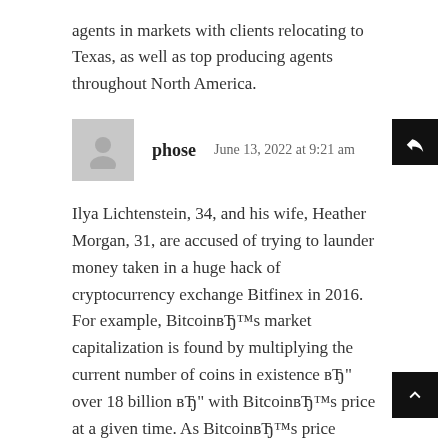agents in markets with clients relocating to Texas, as well as top producing agents throughout North America.
phose   June 13, 2022 at 9:21 am
Ilya Lichtenstein, 34, and his wife, Heather Morgan, 31, are accused of trying to launder money taken in a huge hack of cryptocurrency exchange Bitfinex in 2016. For example, BitcoinвЂ™s market capitalization is found by multiplying the current number of coins in existence вЂ" over 18 billion вЂ" with BitcoinвЂ™s price at a given time. As BitcoinвЂ™s price fluctuates, which it does frequently, so too does its market capitalization. the past few weeks, BitcoinвЂ™s price has been